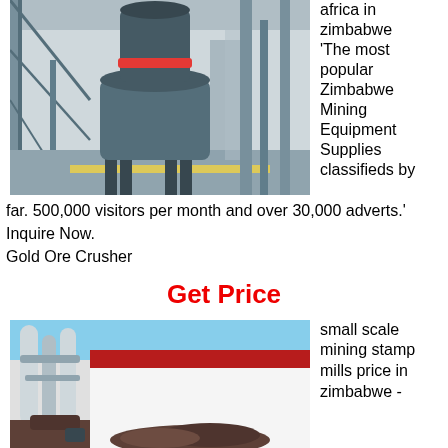[Figure (photo): Industrial mining equipment (large cone/mill machine) inside a large warehouse or factory floor with steel structures in background]
africa in zimbabwe 'The most popular Zimbabwe Mining Equipment Supplies classifieds by far. 500,000 visitors per month and over 30,000 adverts.' Inquire Now. Gold Ore Crusher
Get Price
[Figure (photo): Small scale mining stamp mills equipment outside a building with blue sky background]
small scale mining stamp mills price in zimbabwe -